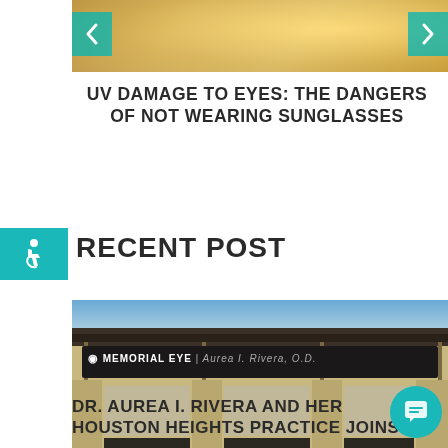[Figure (photo): Blurred golden/warm outdoor photo used as decorative header image with navigation arrows on left and right sides]
UV DAMAGE TO EYES: THE DANGERS OF NOT WEARING SUNGLASSES
RECENT POST
[Figure (photo): Photo of Memorial Eye building exterior showing sign: Memorial Eye | Aurea I. Rivera, O.D. with stone facade and dark awning]
DR. AUREA I. RIVERA AND HER HOUSTON HEIGHTS PRACTICE JOINS